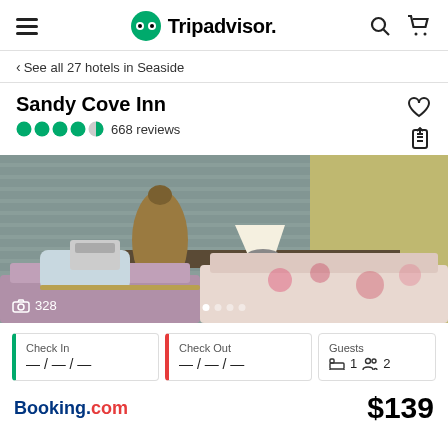Tripadvisor
< See all 27 hotels in Seaside
Sandy Cove Inn
668 reviews
[Figure (photo): Interior photo of Sandy Cove Inn showing a cozy living room with floral cushioned sofa, table lamp, vase, and vintage telephone. Photo counter shows 328 photos.]
Check In — / — / —
Check Out — / — / —
Guests 1 2
Booking.com
$139